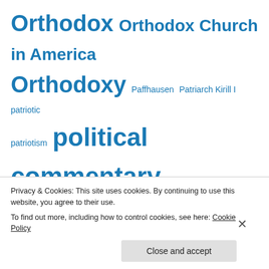[Figure (infographic): Tag cloud of website categories and topics in blue, varying font sizes indicating frequency/importance. Tags include: Orthodox, Orthodox Church in America, Orthodoxy, Paffhausen, Patriarch Kirill I, patriotic, patriotism, political commentary, politics, poster, Religion, Religion and Spirituality, Republican, right-wing, ROCOR, Russia, Russian, Russian culture, Russian history (partially visible), Russian Orthodox Church (partially visible).]
Privacy & Cookies: This site uses cookies. By continuing to use this website, you agree to their use.
To find out more, including how to control cookies, see here: Cookie Policy
Close and accept